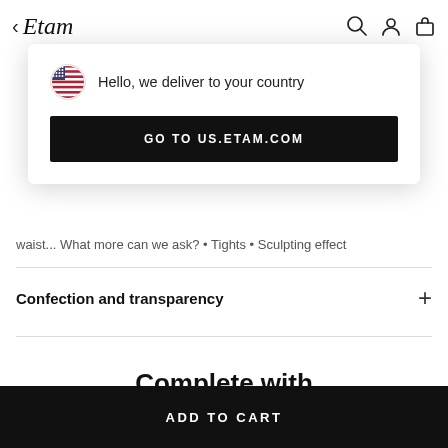< Etam
[Figure (screenshot): Popup dialog with US flag icon, text 'Hello, we deliver to your country', and black button 'GO TO US.ETAM.COM']
waist... What more can we ask? • Tights • Sculpting effect
Confection and transparency +
Complete with
ADD TO CART